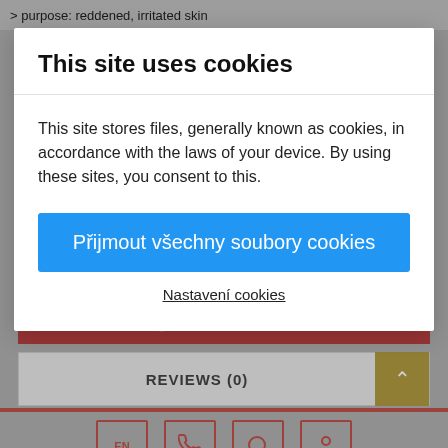> purpose: reddened, irritated skin
This site uses cookies
This site stores files, generally known as cookies, in accordance with the laws of your device. By using these sites, you consent to this.
Přijmout všechny soubory cookies
Nastavení cookies
DESCRIPTION
REVIEWS (0)
EN